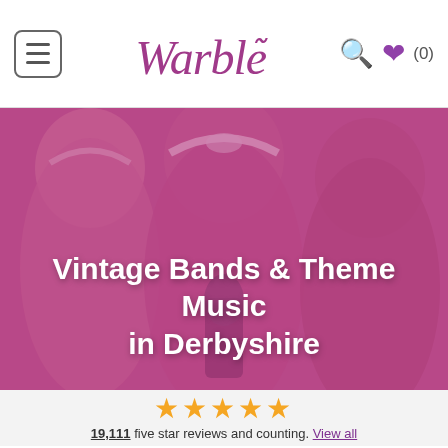Warble (0)
[Figure (photo): Three women dressed in 1920s vintage style with headbands, gloves, and feathered accessories, posed around a vintage microphone against a pink/magenta background. The image has a pink/magenta color overlay.]
Vintage Bands & Theme Music in Derbyshire
19,111 five star reviews and counting. View all
Vintage Bands & Theme Music in Derbyshire